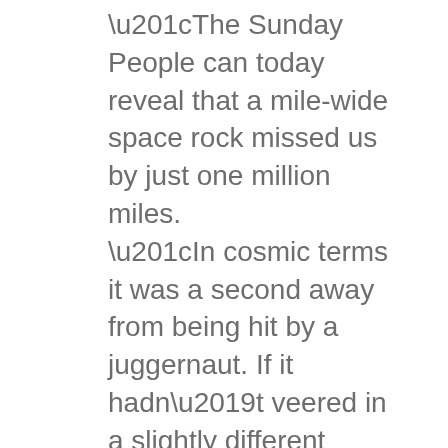“The Sunday People can today reveal that a mile-wide space rock missed us by just one million miles. “In cosmic terms it was a second away from being hit by a juggernaut. If it hadn’t veered in a slightly different direction it would have: “*KILLED a quarter of the population.” “*DESTROYED all animals and crops after blotting out the Sun. “*CREATED a tidal wave an astonishing 17 miles high – Concorde only reaches 10 miles high. “*DEVASTATED just about everything